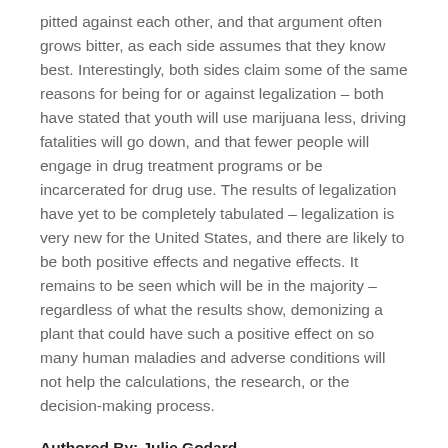pitted against each other, and that argument often grows bitter, as each side assumes that they know best. Interestingly, both sides claim some of the same reasons for being for or against legalization – both have stated that youth will use marijuana less, driving fatalities will go down, and that fewer people will engage in drug treatment programs or be incarcerated for drug use. The results of legalization have yet to be completely tabulated – legalization is very new for the United States, and there are likely to be both positive effects and negative effects. It remains to be seen which will be in the majority – regardless of what the results show, demonizing a plant that could have such a positive effect on so many human maladies and adverse conditions will not help the calculations, the research, or the decision-making process.
Authored By: Julie Godard